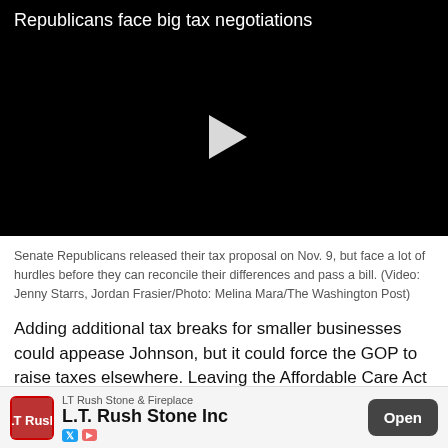Republicans face big tax negotiations
[Figure (screenshot): Black video player with a white play button triangle in the center]
Senate Republicans released their tax proposal on Nov. 9, but face a lot of hurdles before they can reconcile their differences and pass a bill. (Video: Jenny Starrs, Jordan Frasier/Photo: Melina Mara/The Washington Post)
Adding additional tax breaks for smaller businesses could appease Johnson, but it could force the GOP to raise taxes elsewhere. Leaving the Affordable Care Act alone could
LT Rush Stone & Fireplace
L.T. Rush Stone Inc
Open